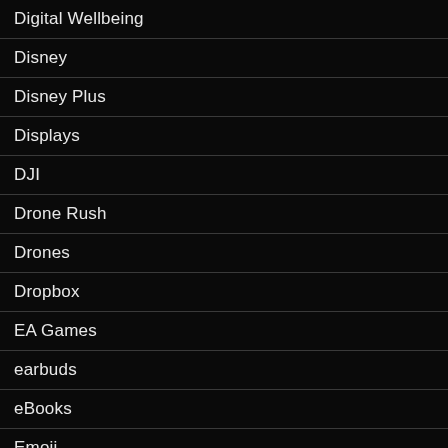Digital Wellbeing
Disney
Disney Plus
Displays
DJI
Drone Rush
Drones
Dropbox
EA Games
earbuds
eBooks
Emoji
EMUI